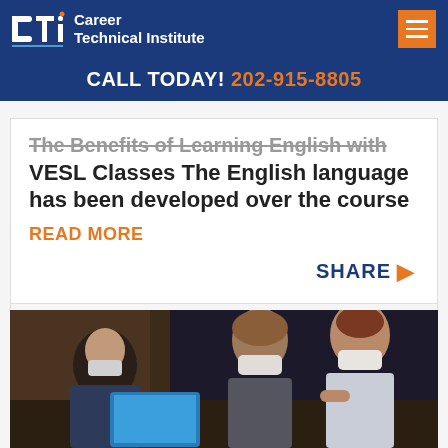Career Technical Institute | CALL TODAY! 202-915-8805
The Benefits of Learning English with VESL Classes The English language has been developed over the course
READ MORE
SHARE
Topics : General
[Figure (photo): Three people wearing face masks looking at a laptop screen in an office setting]